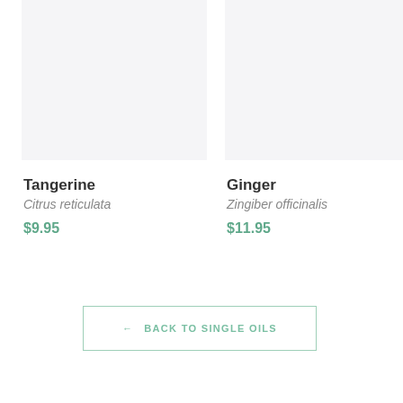[Figure (photo): Product image placeholder for Tangerine essential oil, light gray background]
Tangerine
Citrus reticulata
$9.95
[Figure (photo): Product image placeholder for Ginger essential oil, light gray background]
Ginger
Zingiber officinalis
$11.95
← BACK TO SINGLE OILS